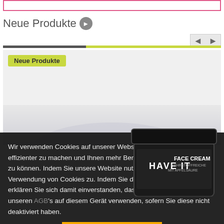[Figure (screenshot): Top pink bordered rectangle (partial UI element)]
Neue Produkte →
[Figure (screenshot): Product carousel area with 'Neue Produkte' yellow-green tag label on grey background, showing partial product image at bottom]
Wir verwenden Cookies auf unserer Website, um Ihren Besuch effizienter zu machen und Ihnen mehr Benutzerfreundlichkeit bieten zu können. Indem Sie unsere Website nutzen, stimmen Sie der Verwendung von Cookies zu. Indem Sie diese Meldung bestätigen, erklären Sie sich damit einverstanden, dass wir Cookies gemäß unseren AGB's auf diesem Gerät verwenden, sofern Sie diese nicht deaktiviert haben.
BESTÄTIGEN